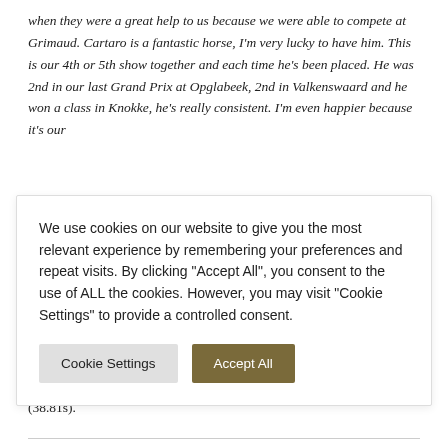when they were a great help to us because we were able to compete at Grimaud. Cartaro is a fantastic horse, I'm very lucky to have him. This is our 4th or 5th show together and each time he's been placed. He was 2nd in our last Grand Prix at Opglabeek, 2nd in Valkenswaard and he won a class in Knokke, he's really consistent. I'm even happier because it's our
We use cookies on our website to give you the most relevant experience by remembering your preferences and repeat visits. By clicking "Accept All", you consent to the use of ALL the cookies. However, you may visit "Cookie Settings" to provide a controlled consent.
belongs to Marie-Cindy Van Der Straeten." Great Britain's Guy Williams with Cicero II, last to go in the jump-off, gave everything in order to try and catch Zanotelli. He finished 2nd in 37.77s. Third place was taken by the France's Simon Delestre with I Amelusina R 51 (38.81s).